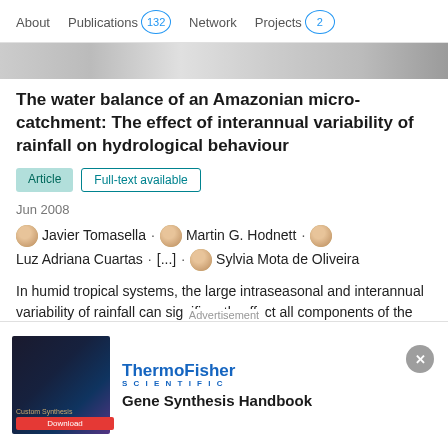About  Publications 132  Network  Projects 2
[Figure (screenshot): Thumbnail strip of a document page preview]
The water balance of an Amazonian micro-catchment: The effect of interannual variability of rainfall on hydrological behaviour
Article  Full-text available
Jun 2008
Javier Tomasella · Martin G. Hodnett · Luz Adriana Cuartas · [...] · Sylvia Mota de Oliveira
In humid tropical systems, the large intraseasonal and interannual variability of rainfall can significantly affect all components of the water balance. This variability and the lack of detailed hydrological and meteorological data in both temporal and spatial scales have created uncertainties regarding the closure of the water balance for the Amaz…
[Figure (advertisement): ThermoFisher Scientific advertisement - Gene Synthesis Handbook]